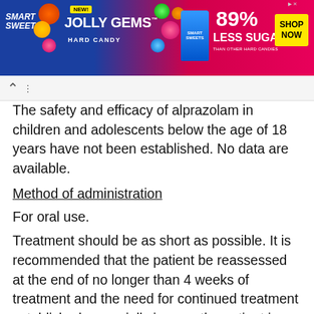[Figure (other): Smart Sweets Jolly Gems Hard Candy advertisement banner. Blue and pink background with text: NEW! JOLLY GEMS HARD CANDY, 89% LESS SUGAR THAN OTHER HARD CANDIES, SHOP NOW button. Smart Sweets logo visible.]
The safety and efficacy of alprazolam in children and adolescents below the age of 18 years have not been established. No data are available.
Method of administration
For oral use.
Treatment should be as short as possible. It is recommended that the patient be reassessed at the end of no longer than 4 weeks of treatment and the need for continued treatment established, especially in case the patient is symptom free. The overall duration of treatment should not be more than 8-12 weeks, including a tapering off process. In certain cases extension beyond the maximum